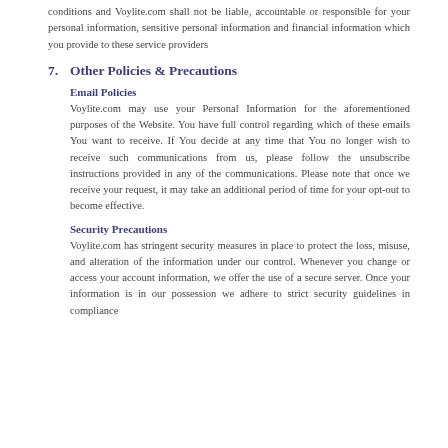conditions and Voylite.com shall not be liable, accountable or responsible for your personal information, sensitive personal information and financial information which you provide to these service providers
7. Other Policies & Precautions
Email Policies
Voylite.com may use your Personal Information for the aforementioned purposes of the Website. You have full control regarding which of these emails You want to receive. If You decide at any time that You no longer wish to receive such communications from us, please follow the unsubscribe instructions provided in any of the communications. Please note that once we receive your request, it may take an additional period of time for your opt-out to become effective.
Security Precautions
Voylite.com has stringent security measures in place to protect the loss, misuse, and alteration of the information under our control. Whenever you change or access your account information, we offer the use of a secure server. Once your information is in our possession we adhere to strict security guidelines in compliance